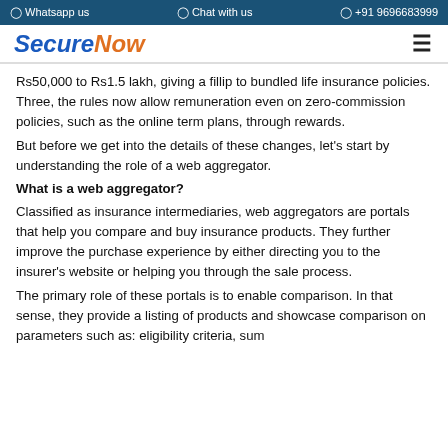Whatsapp us  Chat with us  +91 9696683999
[Figure (logo): SecureNow logo with blue 'Secure' and orange 'Now' text]
Rs50,000 to Rs1.5 lakh, giving a fillip to bundled life insurance policies. Three, the rules now allow remuneration even on zero-commission policies, such as the online term plans, through rewards.
But before we get into the details of these changes, let's start by understanding the role of a web aggregator.
What is a web aggregator?
Classified as insurance intermediaries, web aggregators are portals that help you compare and buy insurance products. They further improve the purchase experience by either directing you to the insurer's website or helping you through the sale process.
The primary role of these portals is to enable comparison. In that sense, they provide a listing of products and showcase comparison on parameters such as: eligibility criteria, sum